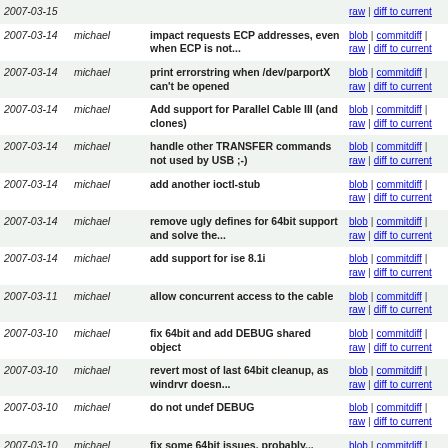| date | author | message | links |
| --- | --- | --- | --- |
| 2007-03-15 | michael | ... | blob | commitdiff | raw | diff to current |
| 2007-03-14 | michael | impact requests ECP addresses, even when ECP is not... | blob | commitdiff | raw | diff to current |
| 2007-03-14 | michael | print errorstring when /dev/parportX can't be opened | blob | commitdiff | raw | diff to current |
| 2007-03-14 | michael | Add support for Parallel Cable III (and clones) | blob | commitdiff | raw | diff to current |
| 2007-03-14 | michael | handle other TRANSFER commands not used by USB ;-) | blob | commitdiff | raw | diff to current |
| 2007-03-14 | michael | add another ioctl-stub | blob | commitdiff | raw | diff to current |
| 2007-03-14 | michael | remove ugly defines for 64bit support and solve the... | blob | commitdiff | raw | diff to current |
| 2007-03-14 | michael | add support for ise 8.1i | blob | commitdiff | raw | diff to current |
| 2007-03-11 | michael | allow concurrent access to the cable | blob | commitdiff | raw | diff to current |
| 2007-03-10 | michael | fix 64bit and add DEBUG shared object | blob | commitdiff | raw | diff to current |
| 2007-03-10 | michael | revert most of last 64bit cleanup, as windrvr doesn... | blob | commitdiff | raw | diff to current |
| 2007-03-10 | michael | do not undef DEBUG | blob | commitdiff | raw | diff to current |
| 2007-03-10 | michael | fix some 64bit issues, probably... | blob | commitdiff | raw | diff to current |